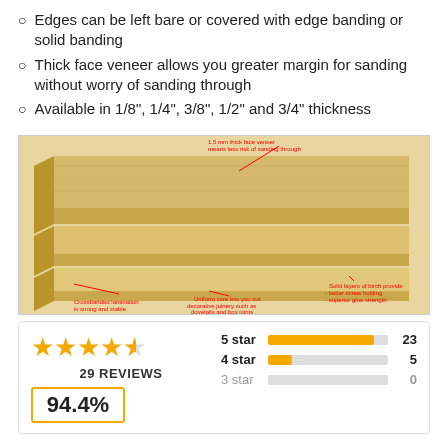Edges can be left bare or covered with edge banding or solid banding
Thick face veneer allows you greater margin for sanding without worry of sanding through
Available in 1/8", 1/4", 3/8", 1/2" and 3/4" thickness
[Figure (photo): Photo of stacked plywood sheets with red annotation labels: '1.5 mm thick face veneer means less risk of sanding through', 'Crossbanded lamination is strong and stable', 'Uniform core lets you cut decorative joinery such as dovetails and box joints', 'Solid layers of birch provide - better screw holding - superior glue strength']
[Figure (infographic): Review summary showing 4.5 stars out of 5, 29 reviews, 94.4% recommend rate, and star rating bars: 5 star=23, 4 star=5, 3 star=0]